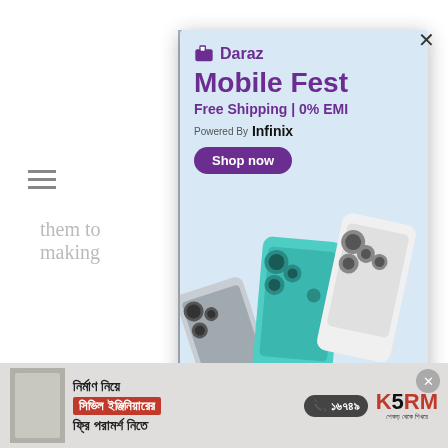them to   hereby making
[Figure (screenshot): Daraz Mobile Fest advertisement popup showing Daraz logo, 'Mobile Fest' heading in purple, 'Free Shipping | 0% EMI' text, 'Powered By Infinix' text, 'Shop now' button, and three Infinix smartphones (teal, white, silver)]
[Figure (screenshot): Bottom banner advertisement for KSRM showing Bengali text 'নির্মাণ নিয়ে সিভিল ইঞ্জিনিয়ারের ফ্রি পরামর্শ নিতে' with phone number 16749 and KSRM logo]